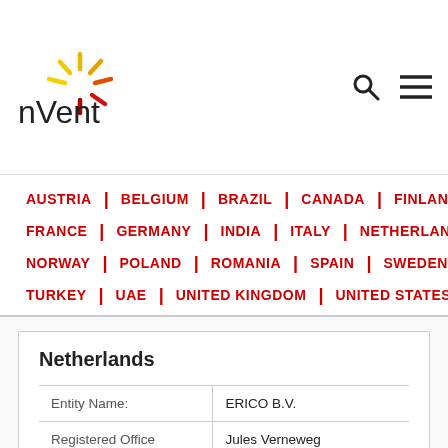[Figure (logo): nVent logo with sunburst graphic in red, orange, yellow colors and lowercase 'nVent' text]
AUSTRIA | BELGIUM | BRAZIL | CANADA | FINLAND |
FRANCE | GERMANY | INDIA | ITALY | NETHERLANDS |
NORWAY | POLAND | ROMANIA | SPAIN | SWEDEN |
TURKEY | UAE | UNITED KINGDOM | UNITED STATES
Netherlands
|  |  |
| --- | --- |
| Entity Name: | ERICO B.V. |
| Registered Office Address: | Jules Verneweg 75 |